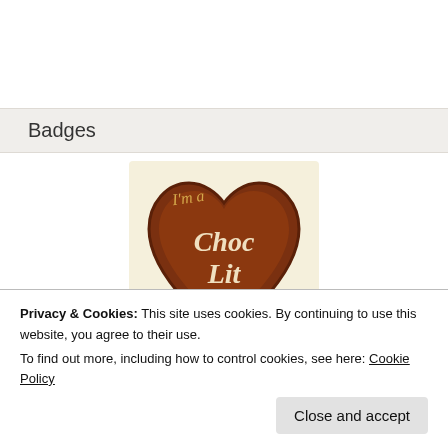Badges
[Figure (illustration): ChocLit Star badge — a chocolate-brown heart shape with script text reading 'I'm a Choc Lit' in cream/gold, and 'STAR' with a star icon in gold below the heart, on a cream background]
Privacy & Cookies: This site uses cookies. By continuing to use this website, you agree to their use.
To find out more, including how to control cookies, see here: Cookie Policy
Close and accept